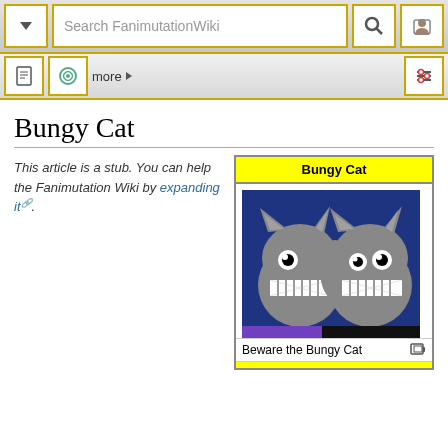Search FanimutationWiki
Bungy Cat
This article is a stub. You can help the Fanimutation Wiki by expanding it.
[Figure (screenshot): Infobox titled 'Bungy Cat' with a screenshot of two cartoon grey cats with wide toothy grins on a dark blue background, captioned 'Beware the Bungy Cat']